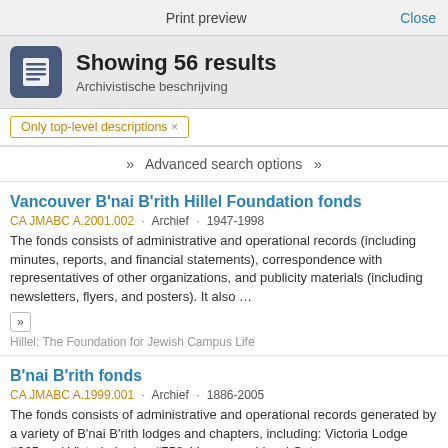Print preview   Close
Showing 56 results
Archivistische beschrijving
Only top-level descriptions ×
»   Advanced search options   »
Vancouver B'nai B'rith Hillel Foundation fonds
CA JMABC A.2001.002 · Archief · 1947-1998
The fonds consists of administrative and operational records (including minutes, reports, and financial statements), correspondence with representatives of other organizations, and publicity materials (including newsletters, flyers, and posters). It also ...
Hillel: The Foundation for Jewish Campus Life
B'nai B'rith fonds
CA JMABC A.1999.001 · Archief · 1886-2005
The fonds consists of administrative and operational records generated by a variety of B'nai B'rith lodges and chapters, including: Victoria Lodge #365 and Victoria Lodge #758; Vancouver Lions' Gate